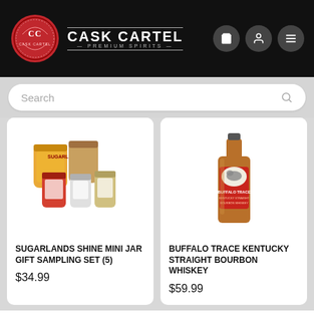[Figure (logo): Cask Cartel Premium Spirits logo with red wax seal and white text on black header background with cart, user, and menu icons]
Search
[Figure (photo): Sugarlands Shine Mini Jar Gift Sampling Set showing multiple small mason jars with colorful labels]
SUGARLANDS SHINE MINI JAR GIFT SAMPLING SET (5)
$34.99
[Figure (photo): Buffalo Trace Kentucky Straight Bourbon Whiskey bottle with red and white label showing a buffalo]
BUFFALO TRACE KENTUCKY STRAIGHT BOURBON WHISKEY
$59.99
LARGEST SPIRITS MARKETPLACE